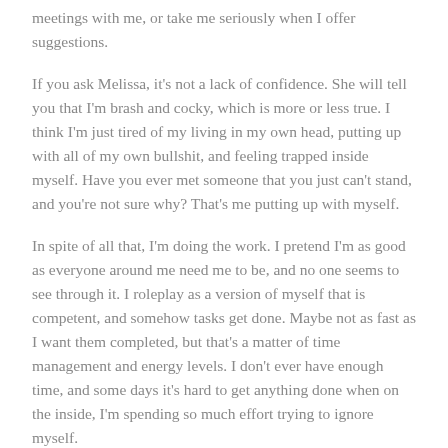meetings with me, or take me seriously when I offer suggestions.
If you ask Melissa, it's not a lack of confidence. She will tell you that I'm brash and cocky, which is more or less true. I think I'm just tired of my living in my own head, putting up with all of my own bullshit, and feeling trapped inside myself. Have you ever met someone that you just can't stand, and you're not sure why? That's me putting up with myself.
In spite of all that, I'm doing the work. I pretend I'm as good as everyone around me need me to be, and no one seems to see through it. I roleplay as a version of myself that is competent, and somehow tasks get done. Maybe not as fast as I want them completed, but that's a matter of time management and energy levels. I don't ever have enough time, and some days it's hard to get anything done when on the inside, I'm spending so much effort trying to ignore myself.
This all feels too personal. Too honest. Too much self-reflection.